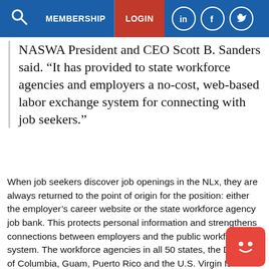MEMBERSHIP  LOGIN
NASWA President and CEO Scott B. Sanders said. “It has provided to state workforce agencies and employers a no-cost, web-based labor exchange system for connecting with job seekers.”
When job seekers discover job openings in the NLx, they are always returned to the point of origin for the position: either the employer’s career website or the state workforce agency job bank. This protects personal information and strengthens connections between employers and the public workforce system. The workforce agencies in all 50 states, the District of Columbia, Guam, Puerto Rico and the U.S. Virgin Islands are formal participants in the NLx partnership, empowering workforce system customers across the United States to tap into the NLx’s four million jobs daily.